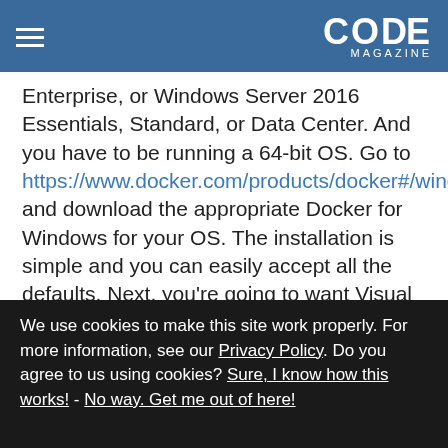CODE MAGAZINE
Enterprise, or Windows Server 2016 Essentials, Standard, or Data Center. And you have to be running a 64-bit OS. Go to https://www.docker.com/products/docker#/windows and download the appropriate Docker for Windows for your OS. The installation is simple and you can easily accept all the defaults. Next, you're going to want Visual Studio 2017. As I write this, it's in Release Candidate (RC) status. When you install, make sure to check the NET Core and Docker component. Of course, you don't need Visual Studio 2017 to build
We use cookies to make this site work properly. For more information, see our Privacy Policy. Do you agree to us using cookies? Sure, I know how this works! - No way. Get me out of here!